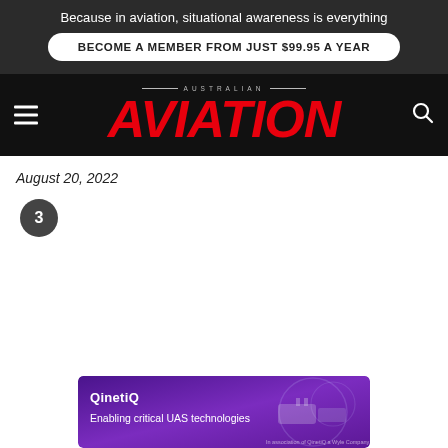Because in aviation, situational awareness is everything
BECOME A MEMBER FROM JUST $99.95 A YEAR
AVIATION (Australian Aviation)
August 20, 2022
3
[Figure (infographic): QinetiQ advertisement banner with purple gradient background and UAS drone imagery. Text: QinetiQ — Enabling critical UAS technologies]